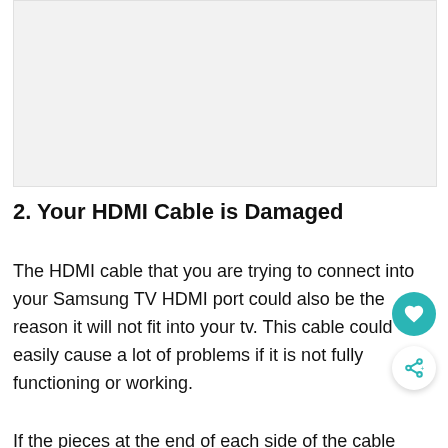[Figure (other): Light gray rectangular image placeholder area]
2. Your HDMI Cable is Damaged
The HDMI cable that you are trying to connect into your Samsung TV HDMI port could also be the reason it will not fit into your tv. This cable could easily cause a lot of problems if it is not fully functioning or working.
If the pieces at the end of each side of the cable have